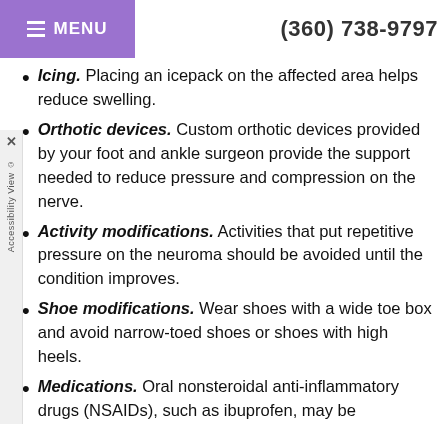MENU | (360) 738-9797
Icing. Placing an icepack on the affected area helps reduce swelling.
Orthotic devices. Custom orthotic devices provided by your foot and ankle surgeon provide the support needed to reduce pressure and compression on the nerve.
Activity modifications. Activities that put repetitive pressure on the neuroma should be avoided until the condition improves.
Shoe modifications. Wear shoes with a wide toe box and avoid narrow-toed shoes or shoes with high heels.
Medications. Oral nonsteroidal anti-inflammatory drugs (NSAIDs), such as ibuprofen, may be